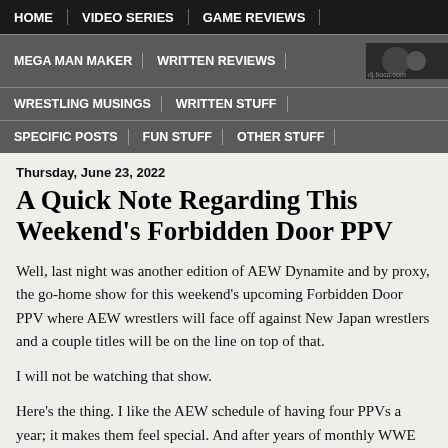HOME | VIDEO SERIES | GAME REVIEWS
MEGA MAN MAKER | WRITTEN REVIEWS
WRESTLING MUSINGS | WRITTEN STUFF
SPECIFIC POSTS | FUN STUFF | OTHER STUFF
Thursday, June 23, 2022
A Quick Note Regarding This Weekend's Forbidden Door PPV
Well, last night was another edition of AEW Dynamite and by proxy, the go-home show for this weekend's upcoming Forbidden Door PPV where AEW wrestlers will face off against New Japan wrestlers and a couple titles will be on the line on top of that.
I will not be watching that show.
Here's the thing. I like the AEW schedule of having four PPVs a year; it makes them feel special. And after years of monthly WWE